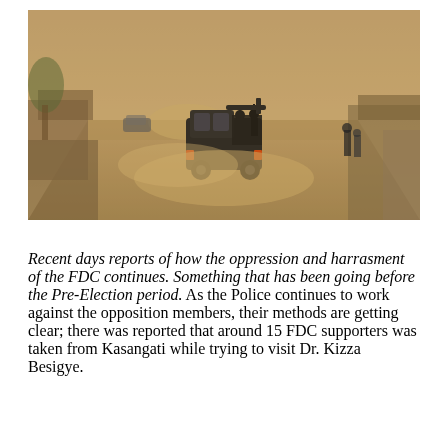[Figure (photo): A dusty road scene with a military or police pickup truck driving through, armed personnel visible in the truck bed, with hazy dust clouds in the air and roadside structures visible on either side.]
Recent days reports of how the oppression and harrasment of the FDC continues. Something that has been going before the Pre-Election period. As the Police continues to work against the opposition members, their methods are getting clear; there was reported that around 15 FDC supporters was taken from Kasangati while trying to visit Dr. Kizza Besigye.